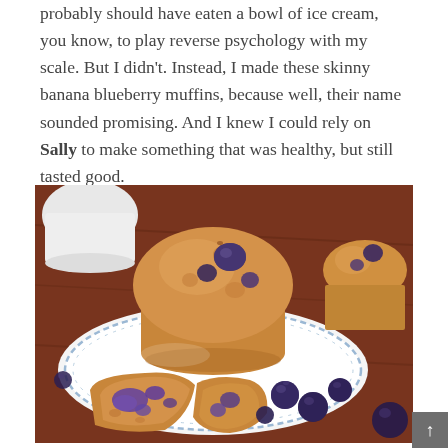probably should have eaten a bowl of ice cream, you know, to play reverse psychology with my scale. But I didn't. Instead, I made these skinny banana blueberry muffins, because well, their name sounded promising. And I knew I could rely on Sally to make something that was healthy, but still tasted good.
[Figure (photo): Close-up photo of banana blueberry muffins on a white plate with blue floral detail. A large muffin sits upright in the center, golden-brown with blueberries visible. In the foreground, a muffin is broken open revealing purple blueberry interior. Fresh blueberries are scattered around the plate. Background shows a dark wood surface and a white cup.]